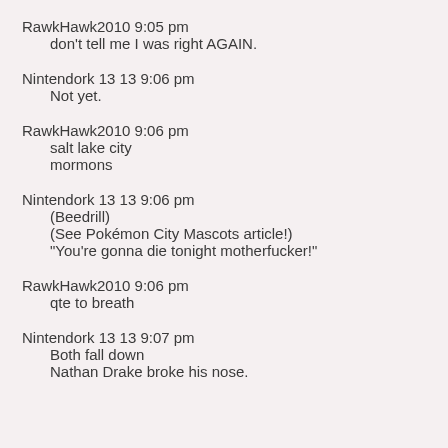RawkHawk2010 9:05 pm
    don't tell me I was right AGAIN.
Nintendork 13 13 9:06 pm
    Not yet.
RawkHawk2010 9:06 pm
    salt lake city
    mormons
Nintendork 13 13 9:06 pm
    (Beedrill)
    (See Pokémon City Mascots article!)
    "You're gonna die tonight motherfucker!"
RawkHawk2010 9:06 pm
    qte to breath
Nintendork 13 13 9:07 pm
    Both fall down
    Nathan Drake broke his nose.